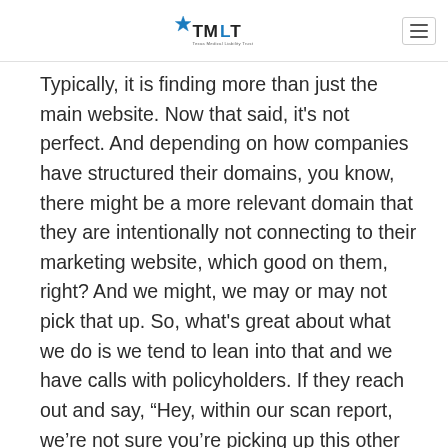TMLT
Typically, it is finding more than just the main website. Now that said, it's not perfect. And depending on how companies have structured their domains, you know, there might be a more relevant domain that they are intentionally not connecting to their marketing website, which good on them, right? And we might, we may or may not pick that up. So, what's great about what we do is we tend to lean into that and we have calls with policyholders. If they reach out and say, “Hey, within our scan report, we’re not sure you’re picking up this other domain.” That's actually really relevant to us. And we want to know that